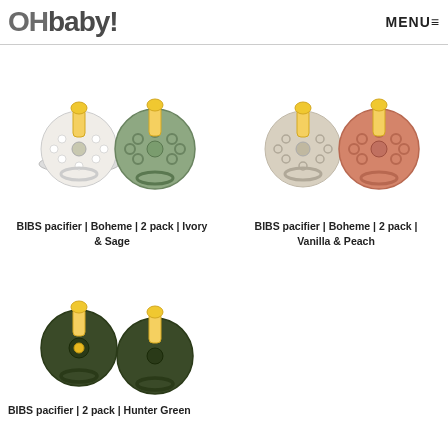OHbaby! MENU≡
[Figure (photo): Two BIBS Boheme pacifiers in Ivory and Sage colors, side by side]
BIBS pacifier | Boheme | 2 pack | Ivory & Sage
[Figure (photo): Two BIBS Boheme pacifiers in Vanilla and Peach colors, side by side]
BIBS pacifier | Boheme | 2 pack | Vanilla & Peach
[Figure (photo): Two BIBS pacifiers in Hunter Green color, side by side]
BIBS pacifier | 2 pack | Hunter Green